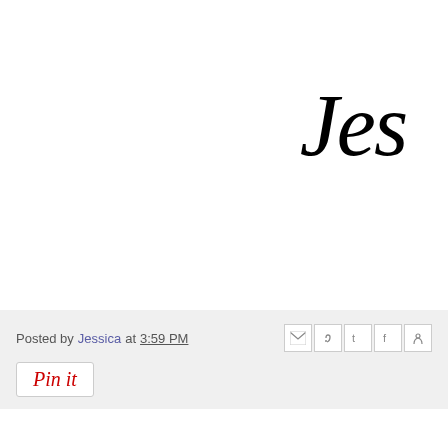[Figure (illustration): Partial signature/script text 'Jes' in large handwritten cursive font, black on white background, top-right corner]
Posted by Jessica at 3:59 PM
[Figure (infographic): Row of share icons: Gmail, Blogger, Twitter, Facebook, Pinterest]
[Figure (illustration): Pinterest 'Pin it' button with cursive red text on white background with border]
16 comments:
[Figure (photo): Avatar photo of a woman with glasses and teal/geometric background]
Yvonne from Quilting Jetgirl  January 3, 2016 at 4:49 PM
Your custom cover looks wonderful and uniquely YOU! Your
Reply